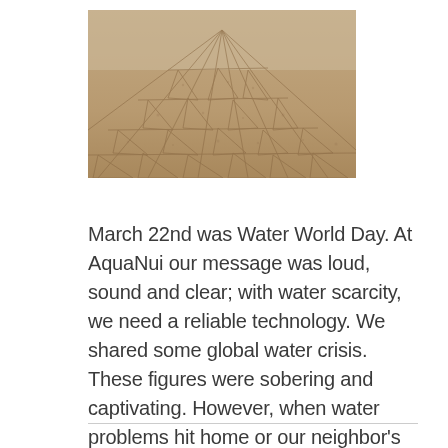[Figure (photo): Aerial or close-up photograph of dry, cracked earth/mud showing severe drought conditions. The cracked desert soil fills the entire frame with a converging perspective.]
March 22nd was Water World Day. At AquaNui our message was loud, sound and clear; with water scarcity, we need a reliable technology. We shared some global water crisis. These figures were sobering and captivating. However, when water problems hit home or our neighbor's backyard, […]